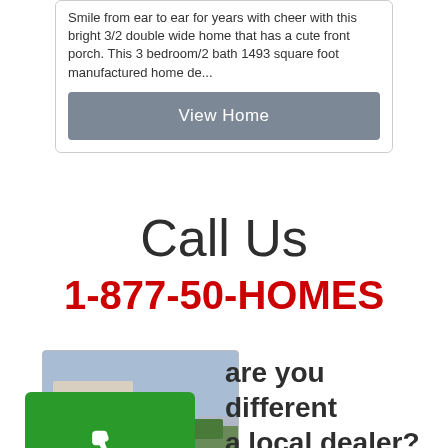Smile from ear to ear for years with cheer with this bright 3/2 double wide home that has a cute front porch. This 3 bedroom/2 bath 1493 square foot manufactured home de...
View Home
Call Us
1-877-50-HOMES
[Figure (photo): Family photo thumbnail showing family in front of a house with shrubs]
[Figure (infographic): Green box with white phone icon and 'Us' label]
are you different a local dealer?